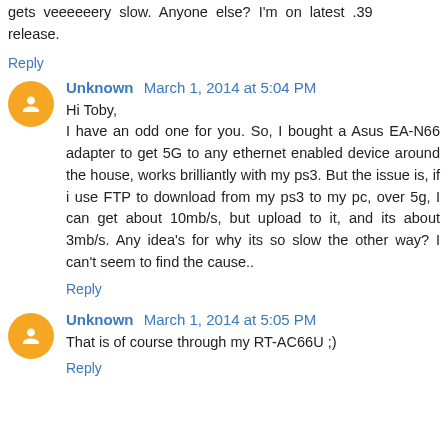gets veeeeeery slow. Anyone else? I'm on latest .39 release.
Reply
Unknown March 1, 2014 at 5:04 PM
Hi Toby,
I have an odd one for you. So, I bought a Asus EA-N66 adapter to get 5G to any ethernet enabled device around the house, works brilliantly with my ps3. But the issue is, if i use FTP to download from my ps3 to my pc, over 5g, I can get about 10mb/s, but upload to it, and its about 3mb/s. Any idea's for why its so slow the other way? I can't seem to find the cause..
Reply
Unknown March 1, 2014 at 5:05 PM
That is of course through my RT-AC66U ;)
Reply